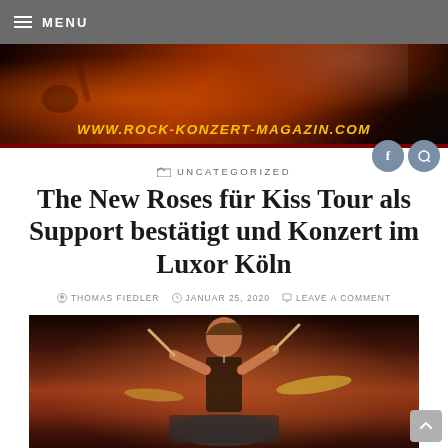≡ MENU
[Figure (photo): Rock concert magazine banner with fire/smoke imagery and URL www.rock-konzert-magazin.com]
UNCATEGORIZED
The New Roses für Kiss Tour als Support bestätigt und Konzert im Luxor Köln
THOMAS FIEDLER   JANUAR 25, 2020   LEAVE A COMMENT
[Figure (photo): Drummer performing on stage with drumsticks raised, concert lighting, dark reddish background]